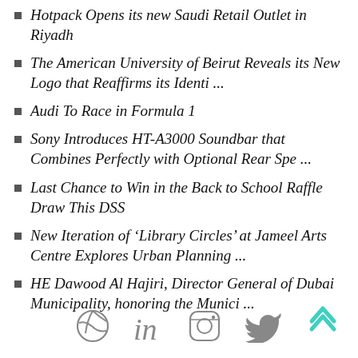Hotpack Opens its new Saudi Retail Outlet in Riyadh
The American University of Beirut Reveals its New Logo that Reaffirms its Identi ...
Audi To Race in Formula 1
Sony Introduces HT-A3000 Soundbar that Combines Perfectly with Optional Rear Spe ...
Last Chance to Win in the Back to School Raffle Draw This DSS
New Iteration of ‘Library Circles’ at Jameel Arts Centre Explores Urban Planning ...
HE Dawood Al Hajiri, Director General of Dubai Municipality, honoring the Munici ...
Social icons: Dribbble, LinkedIn, Instagram, Twitter